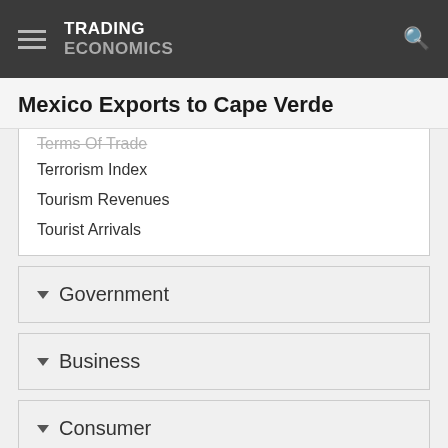TRADING ECONOMICS
Mexico Exports to Cape Verde
Terms Of Trade
Terrorism Index
Tourism Revenues
Tourist Arrivals
Government
Business
Consumer
Housing
Taxes
Cli...